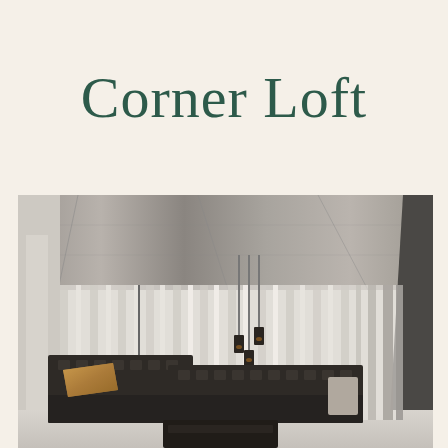Corner Loft
[Figure (photo): Interior photograph of a modern loft living room with concrete ceiling, pendant lights, floor-to-ceiling sheer curtains, dark leather L-shaped sectional sofa with a beige/gold cushion, and a dark coffee table on a light floor.]